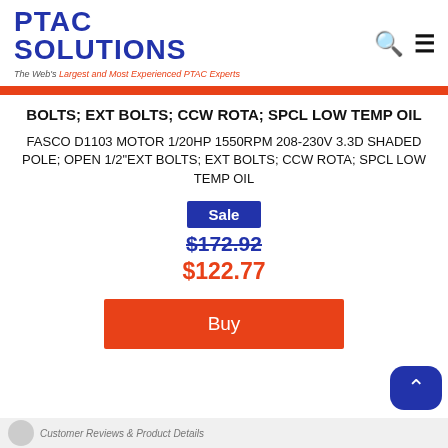[Figure (logo): PTAC Solutions logo with blue block text and orange tagline 'The Web's Largest and Most Experienced PTAC Experts'. Header also contains search and menu icons.]
BOLTS; EXT BOLTS; CCW ROTA; SPCL LOW TEMP OIL
FASCO D1103 MOTOR 1/20HP 1550RPM 208-230V 3.3D SHADED POLE; OPEN 1/2"EXT BOLTS; EXT BOLTS; CCW ROTA; SPCL LOW TEMP OIL
Sale
$172.92
$122.77
Buy